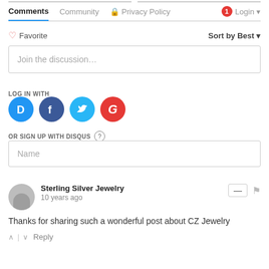Comments | Community | Privacy Policy | Login
Favorite | Sort by Best
Join the discussion…
LOG IN WITH
[Figure (illustration): Social login icons: Disqus (D), Facebook (f), Twitter (bird), Google (G)]
OR SIGN UP WITH DISQUS (?)
Name
Sterling Silver Jewelry
10 years ago
Thanks for sharing such a wonderful post about CZ Jewelry
↑ | ↓ Reply